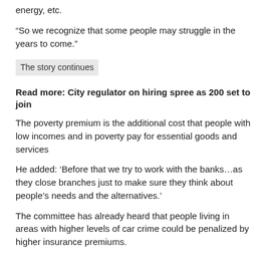energy, etc.
“So we recognize that some people may struggle in the years to come.”
The story continues
Read more: City regulator on hiring spree as 200 set to join
The poverty premium is the additional cost that people with low incomes and in poverty pay for essential goods and services
He added: ‘Before that we try to work with the banks…as they close branches just to make sure they think about people’s needs and the alternatives.’
The committee has already heard that people living in areas with higher levels of car crime could be penalized by higher insurance premiums.